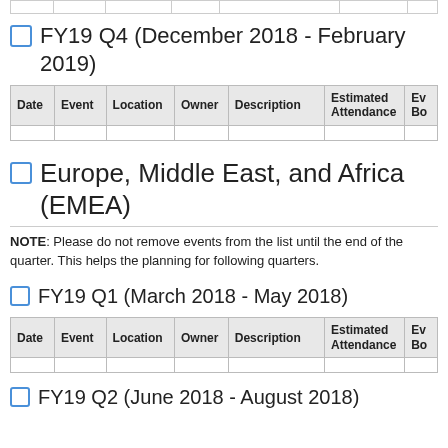| Date | Event | Location | Owner | Description | Estimated Attendance | Ev Bo |
| --- | --- | --- | --- | --- | --- | --- |
FY19 Q4 (December 2018 - February 2019)
| Date | Event | Location | Owner | Description | Estimated Attendance | Ev Bo |
| --- | --- | --- | --- | --- | --- | --- |
Europe, Middle East, and Africa (EMEA)
NOTE: Please do not remove events from the list until the end of the quarter. This helps the planning for following quarters.
FY19 Q1 (March 2018 - May 2018)
| Date | Event | Location | Owner | Description | Estimated Attendance | Ev Bo |
| --- | --- | --- | --- | --- | --- | --- |
FY19 Q2 (June 2018 - August 2018)